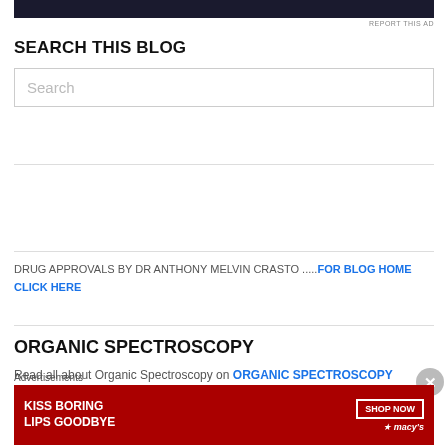[Figure (other): Top advertisement banner (dark blue/navy colored strip)]
REPORT THIS AD
SEARCH THIS BLOG
Search (search input box)
DRUG APPROVALS BY DR ANTHONY MELVIN CRASTO .....FOR BLOG HOME CLICK HERE
ORGANIC SPECTROSCOPY
Read all about Organic Spectroscopy on ORGANIC SPECTROSCOPY
Advertisements
[Figure (photo): Macy's advertisement: KISS BORING LIPS GOODBYE with SHOP NOW button and Macy's star logo, red background with woman's face]